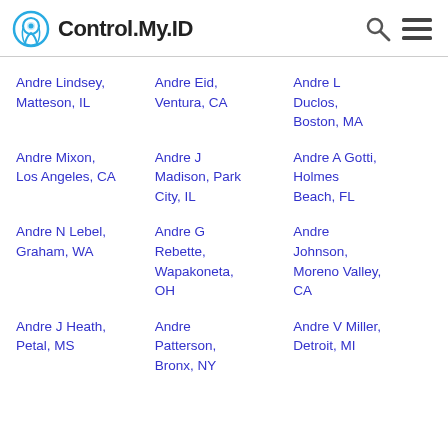Control.My.ID
Andre Lindsey, Matteson, IL
Andre Eid, Ventura, CA
Andre L Duclos, Boston, MA
Andre Mixon, Los Angeles, CA
Andre J Madison, Park City, IL
Andre A Gotti, Holmes Beach, FL
Andre N Lebel, Graham, WA
Andre G Rebette, Wapakoneta, OH
Andre Johnson, Moreno Valley, CA
Andre J Heath, Petal, MS
Andre Patterson, Bronx, NY
Andre V Miller, Detroit, MI